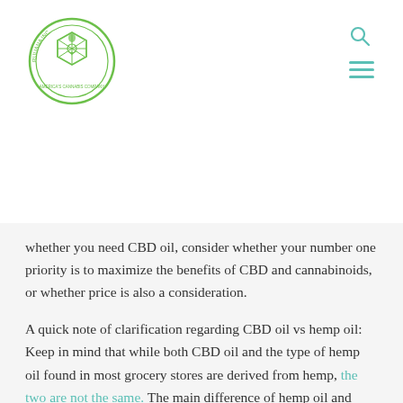Medical Marijuana Inc. logo with search and menu icons
whether you need CBD oil, consider whether your number one priority is to maximize the benefits of CBD and cannabinoids, or whether price is also a consideration.
A quick note of clarification regarding CBD oil vs hemp oil: Keep in mind that while both CBD oil and the type of hemp oil found in most grocery stores are derived from hemp, the two are not the same. The main difference of hemp oil and CBD oil is the presence or lack of CBD.
CBD oil is made by using supercritical CO2 to extract CBD-rich oil from the plant's stalks. High in CBD, it's an ideal wellness product for anyone seeking CBD's